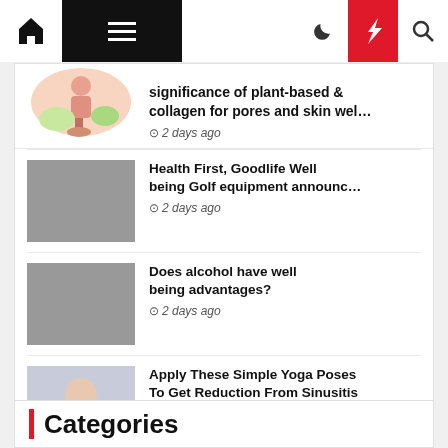Home menu navigation bar with home icon, hamburger menu, moon icon, flash icon (red), search icon
significance of plant-based collagen for pores and skin wel… 2 days ago
Health First, Goodlife Well being Golf equipment announc… 2 days ago
Does alcohol have well being advantages? 2 days ago
Apply These Simple Yoga Poses To Get Reduction From Sinusitis 3 days ago
Categories